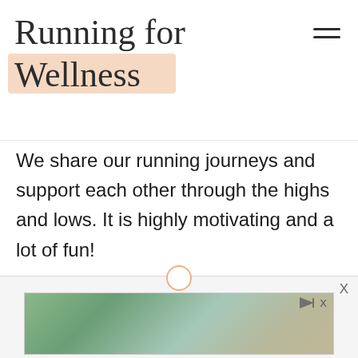Running for Wellness
We share our running journeys and support each other through the highs and lows. It is highly motivating and a lot of fun!
Sometimes if I'm doing a run on the treadmill, knowing that I will be sharing my run with my running community is just the boost I need to not let up! The fact that others will see it provides an extra layer of accountability.
[Figure (photo): Advertisement banner with tropical/beach scene photo at bottom of page with close button X and play button icons]